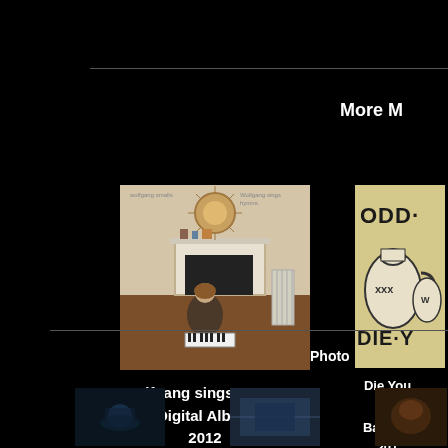More M
[Figure (photo): Album cover for Wolfgang sings Hymns — person sitting on floor in front of fireplace with banjo and keyboard, wicker sunburst wall decoration above.]
Wolfgang sings Hymns
Digital Album
2012
[Figure (illustration): Album cover for Die You Odd — vintage jug illustration with XXX markings, bold text reading ODD and DIE·YO on cream/tan background.]
Die You
Odd
Banjo &
201
Photo
[Figure (photo): Small dark thumbnail photo, appears to be underwater or dark scene.]
[Figure (photo): Small thumbnail photo with blue tones.]
[Figure (photo): Small thumbnail photo showing an animal or figure.]